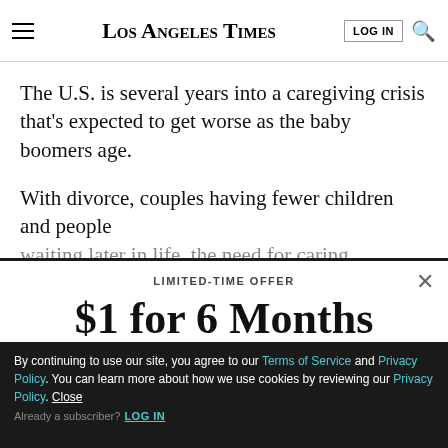Los Angeles Times
The U.S. is several years into a caregiving crisis that's expected to get worse as the baby boomers age.
With divorce, couples having fewer children and people waiting later in life, the need for caring...
LIMITED-TIME OFFER
$1 for 6 Months
SUBSCRIBE NOW
By continuing to use our site, you agree to our Terms of Service and Privacy Policy. You can learn more about how we use cookies by reviewing our Privacy Policy. Close
Already a subscriber? LOG IN